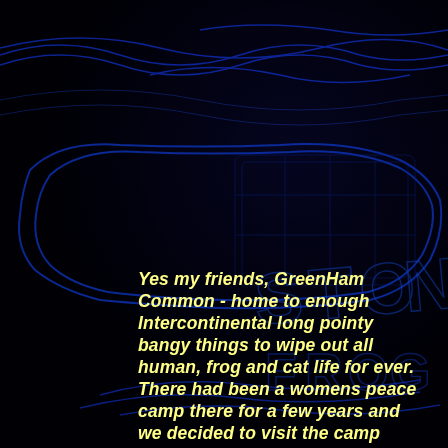[Figure (photo): Dark background with blue glowing decorative text pattern, appears to show 'STOKE & FROG' or similar text in blue neon/glowing style on a very dark background]
Yes my friends, GreenHam Common - home to enough Intercontinental long pointy bangy things to wipe out all human, frog and cat life for ever. There had been a womens peace camp there for a few years and we decided to visit the camp below